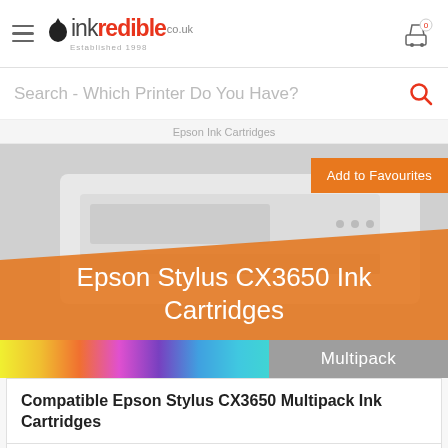[Figure (logo): Inkredible.co.uk logo with drop icon and hamburger menu on left, cart icon on right]
Search - Which Printer Do You Have?
Epson Ink Cartridges
[Figure (photo): Epson Stylus CX3650 printer photo with orange banner overlay showing product title. Add to Favourites button in top right.]
Epson Stylus CX3650 Ink Cartridges
Multipack
Compatible Epson Stylus CX3650 Multipack Ink Cartridges
[Figure (photo): Cartoon worker figure with ink cartridges]